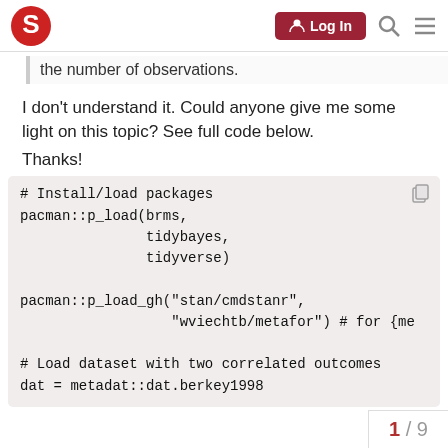Log In [navigation bar with search and menu icons]
the number of observations.
I don't understand it. Could anyone give me some light on this topic? See full code below.
Thanks!
# Install/load packages
pacman::p_load(brms,
               tidybayes,
               tidyverse)

pacman::p_load_gh("stan/cmdstanr",
                  "wviechtb/metafor") # for {me

# Load dataset with two correlated outcomes
dat = metadat::dat.berkey1998

### construct variance-covarian
1 / 9